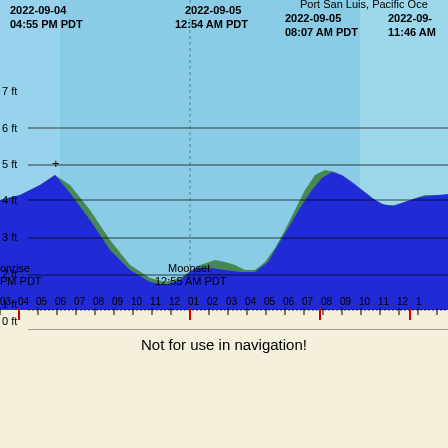[Figure (continuous-plot): Tidal height chart for Port San Luis, Pacific Ocean showing tide levels in feet over time from 2022-09-04 through 2022-09-05. The chart shows a green area (predicted tide) and blue area (actual tide) against a light blue background (daytime). Y-axis ranges from -1 ft to 7 ft. X-axis shows hours. High tides marked at 2022-09-04 04:55 PM PDT, 2022-09-05 12:54 AM PDT, 2022-09-05 08:07 AM PDT, and 2022-09-05 11:46 AM PDT. Moonrise and Moonset also annotated.]
Not for use in navigation!